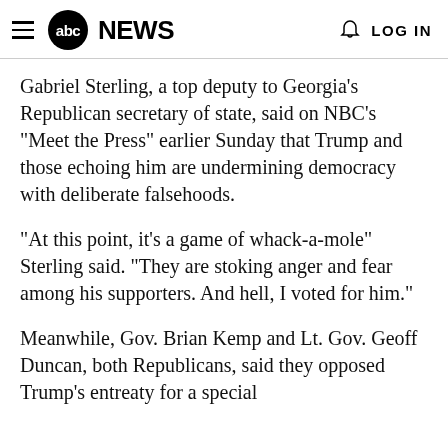abc NEWS  LOG IN
Gabriel Sterling, a top deputy to Georgia's Republican secretary of state, said on NBC's “Meet the Press” earlier Sunday that Trump and those echoing him are undermining democracy with deliberate falsehoods.
“At this point, it’s a game of whack-a-mole” Sterling said. “They are stoking anger and fear among his supporters. And hell, I voted for him.”
Meanwhile, Gov. Brian Kemp and Lt. Gov. Geoff Duncan, both Republicans, said they opposed Trump's entreaty for a special